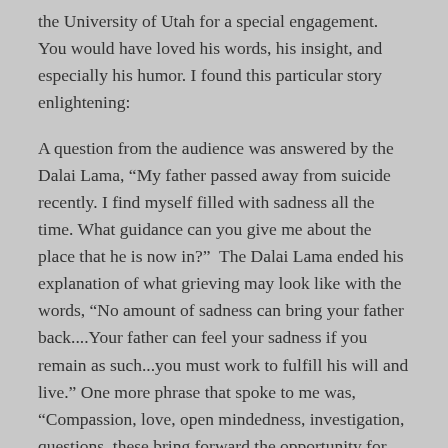the University of Utah for a special engagement. You would have loved his words, his insight, and especially his humor. I found this particular story enlightening:
A question from the audience was answered by the Dalai Lama, “My father passed away from suicide recently. I find myself filled with sadness all the time. What guidance can you give me about the place that he is now in?”  The Dalai Lama ended his explanation of what grieving may look like with the words, “No amount of sadness can bring your father back....Your father can feel your sadness if you remain as such...you must work to fulfill his will and live.” One more phrase that spoke to me was, “Compassion, love, open mindedness, investigation, questions, these bring forward the opportunity for answers.”